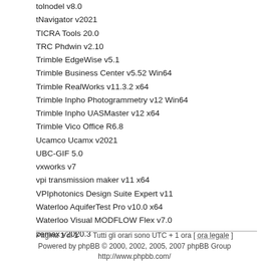tolnodel v8.0
tNavigator v2021
TICRA Tools 20.0
TRC Phdwin v2.10
Trimble EdgeWise v5.1
Trimble Business Center v5.52 Win64
Trimble RealWorks v11.3.2 x64
Trimble Inpho Photogrammetry v12 Win64
Trimble Inpho UASMaster v12 x64
Trimble Vico Office R6.8
Ucamco Ucamx v2021
UBC-GIF 5.0
vxworks v7
vpi transmission maker v11 x64
VPIphotonics Design Suite Expert v11
Waterloo AquiferTest Pro v10.0 x64
Waterloo Visual MODFLOW Flex v7.0
zemax v2020.3
Pagina 1 di 1    Tutti gli orari sono UTC + 1 ora [ ora legale ]    Powered by phpBB © 2000, 2002, 2005, 2007 phpBB Group    http://www.phpbb.com/